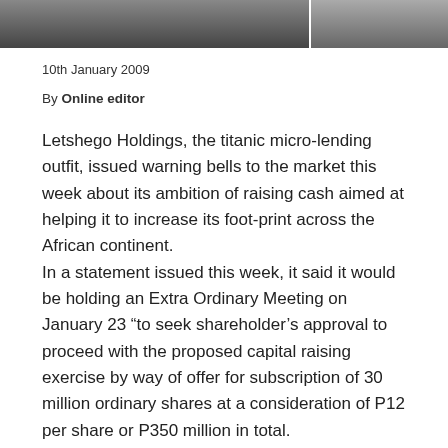[Figure (photo): Two partial photo images side by side at the top of the page]
10th January 2009
By Online editor
Letshego Holdings, the titanic micro-lending outfit, issued warning bells to the market this week about its ambition of raising cash aimed at helping it to increase its foot-print across the African continent.
In a statement issued this week, it said it would be holding an Extra Ordinary Meeting on January 23 “to seek shareholder’s approval to proceed with the proposed capital raising exercise by way of offer for subscription of 30 million ordinary shares at a consideration of P12 per share or P350 million in total.